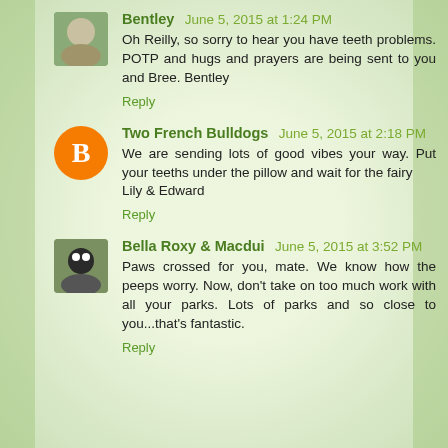Bentley June 5, 2015 at 1:24 PM
Oh Reilly, so sorry to hear you have teeth problems. POTP and hugs and prayers are being sent to you and Bree. Bentley
Reply
Two French Bulldogs June 5, 2015 at 2:18 PM
We are sending lots of good vibes your way. Put your teeths under the pillow and wait for the fairy Lily & Edward
Reply
Bella Roxy & Macdui June 5, 2015 at 3:52 PM
Paws crossed for you, mate. We know how the peeps worry. Now, don't take on too much work with all your parks. Lots of parks and so close to you...that's fantastic.
Reply